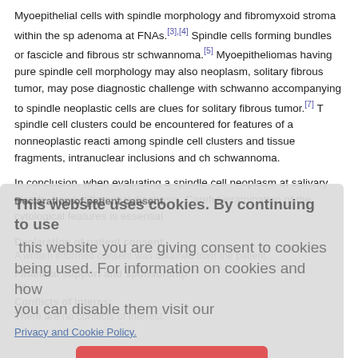Myoepithelial cells with spindle morphology and fibromyxoid stroma within the sp adenoma at FNAs.[3],[4] Spindle cells forming bundles or fascicle and fibrous str schwannoma.[5] Myoepitheliomas having pure spindle cell morphology may also neoplasm, solitary fibrous tumor, may pose diagnostic challenge with schwannoma accompanying to spindle neoplastic cells are clues for solitary fibrous tumor.[7] T spindle cell clusters could be encountered for features of a nonneoplastic reactiv among spindle cell clusters and tissue fragments, intranuclear inclusions and cha schwannoma.
In conclusion, when evaluating a spindle cell neoplasm at salivary glands, howe differential diagnosis. Careful examination of the cytological features is essential
Declaration of patient consent
A written informed consent was obtained from the patient.
Financial support and sponsorship
Nil.
Conflicts of interest
There are no conflicts of interest.
[Figure (screenshot): Cookie consent overlay popup with text 'This website uses cookies. By continuing to use this website you are giving consent to cookies being used. For information on cookies and how you can disable them visit our Privacy and Cookie Policy.' and a red 'AGREE & PROCEED' button.]